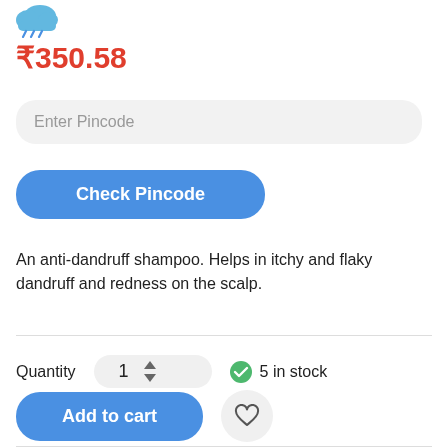[Figure (illustration): Cloud with rain icon in blue/teal color]
₹350.58
Enter Pincode
Check Pincode
An anti-dandruff shampoo. Helps in itchy and flaky dandruff and redness on the scalp.
Quantity   1   5 in stock
Add to cart